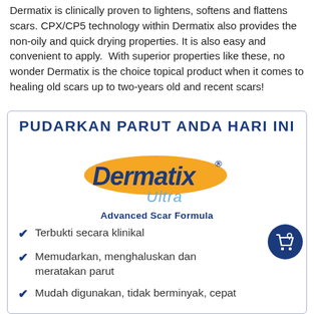Dermatix is clinically proven to lightens, softens and flattens scars. CPX/CP5 technology within Dermatix also provides the non-oily and quick drying properties. It is also easy and convenient to apply.  With superior properties like these, no wonder Dermatix is the choice topical product when it comes to healing old scars up to two-years old and recent scars!
PUDARKAN PARUT ANDA HARI INI
[Figure (logo): Dermatix Ultra Advanced Scar Formula logo — dark blue Dermatix text on orange ellipse, with blue italic Ultra below, on a white background]
Terbukti secara klinikal
Memudarkan, menghaluskan dan meratakan parut
Mudah digunakan, tidak berminyak, cepat